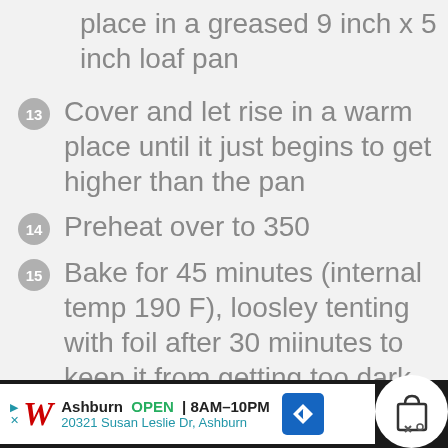place in a greased 9 inch x 5 inch loaf pan
13 Cover and let rise in a warm place until it just begins to get higher than the pan
14 Preheat over to 350
15 Bake for 45 minutes (internal temp 190 F), loosley tenting with foil after 30 miinutes to keep it from getting too dark
16 Rub the top with butter aft...
[Figure (screenshot): Advertisement bar for Walgreens: Ashburn OPEN 8AM-10PM, 20321 Susan Leslie Dr, Ashburn, with map navigation icon and shopping bag overlay icon]